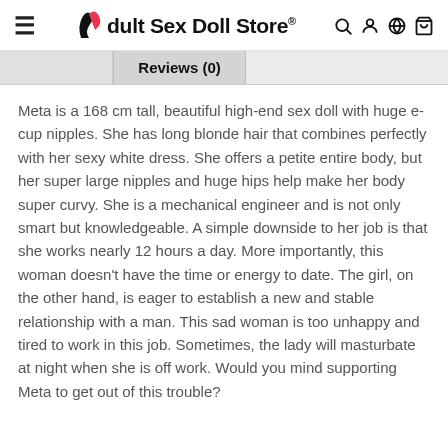Adult Sex Doll Store®
Reviews (0)
Meta is a 168 cm tall, beautiful high-end sex doll with huge e-cup nipples. She has long blonde hair that combines perfectly with her sexy white dress. She offers a petite entire body, but her super large nipples and huge hips help make her body super curvy. She is a mechanical engineer and is not only smart but knowledgeable. A simple downside to her job is that she works nearly 12 hours a day. More importantly, this woman doesn't have the time or energy to date. The girl, on the other hand, is eager to establish a new and stable relationship with a man. This sad woman is too unhappy and tired to work in this job. Sometimes, the lady will masturbate at night when she is off work. Would you mind supporting Meta to get out of this trouble?